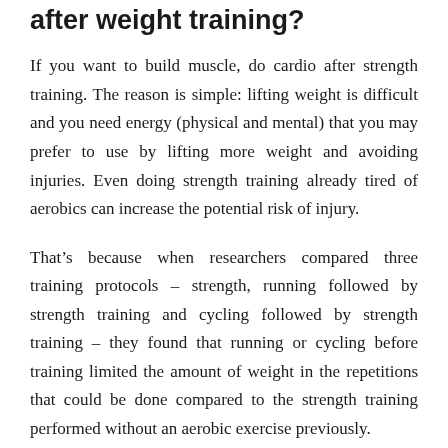after weight training?
If you want to build muscle, do cardio after strength training. The reason is simple: lifting weight is difficult and you need energy (physical and mental) that you may prefer to use by lifting more weight and avoiding injuries. Even doing strength training already tired of aerobics can increase the potential risk of injury.
That’s because when researchers compared three training protocols – strength, running followed by strength training and cycling followed by strength training – they found that running or cycling before training limited the amount of weight in the repetitions that could be done compared to the strength training performed without an aerobic exercise previously.
Another study showed that muscle strength decreases